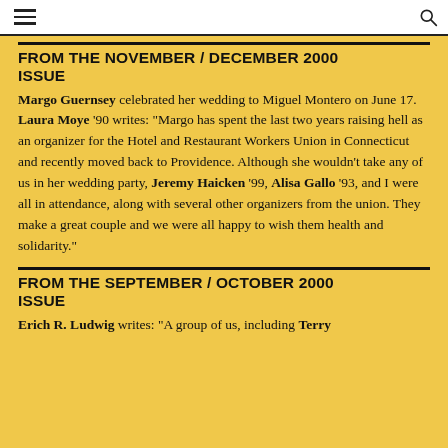[hamburger menu] [search icon]
FROM THE NOVEMBER / DECEMBER 2000 ISSUE
Margo Guernsey celebrated her wedding to Miguel Montero on June 17. Laura Moye '90 writes: "Margo has spent the last two years raising hell as an organizer for the Hotel and Restaurant Workers Union in Connecticut and recently moved back to Providence. Although she wouldn't take any of us in her wedding party, Jeremy Haicken '99, Alisa Gallo '93, and I were all in attendance, along with several other organizers from the union. They make a great couple and we were all happy to wish them health and solidarity."
FROM THE SEPTEMBER / OCTOBER 2000 ISSUE
Erich R. Ludwig writes: "A group of us, including Terry